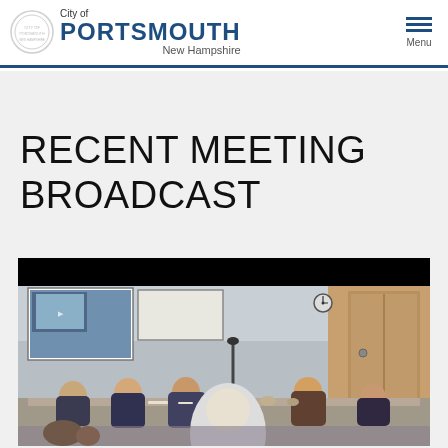City of PORTSMOUTH New Hampshire
RECENT MEETING BROADCAST
[Figure (photo): Meeting room with people seated around a conference table, a projection screen showing a presentation at the front left, a whiteboard, clock on the wall, and wood-paneled door on the right side of the room.]